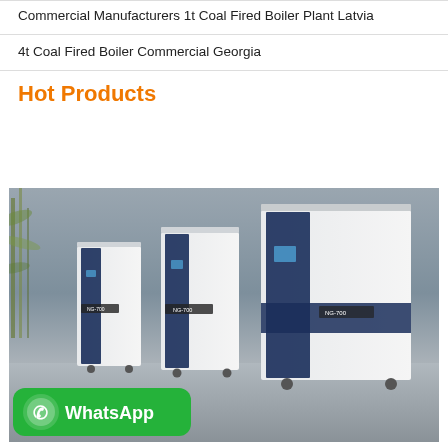Commercial Manufacturers 1t Coal Fired Boiler Plant Latvia
4t Coal Fired Boiler Commercial Georgia
Hot Products
[Figure (photo): Three industrial boiler units (NG-700 model) in white and dark blue/navy finish, displayed in a showroom setting with bamboo plants in the background. A WhatsApp badge is overlaid in the bottom-left corner.]